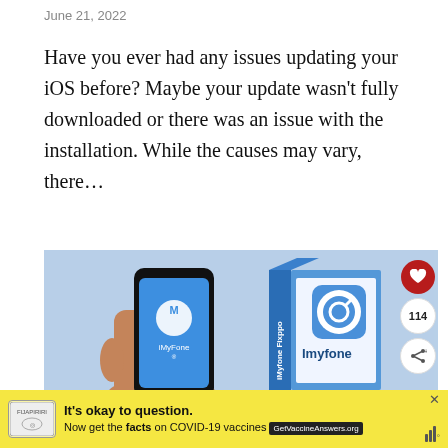June 21, 2022
Have you ever had any issues updating your iOS before? Maybe your update wasn’t fully downloaded or there was an issue with the installation. While the causes may vary, there…
[Figure (photo): Product photo showing a hand holding a smartphone with iMyFone logo and blue screen, next to an iMyFone Fixppo product box with a blue app icon featuring a wrench]
It’s okay to question. Now get the facts on COVID-19 vaccines GetVaccineAnswers.org